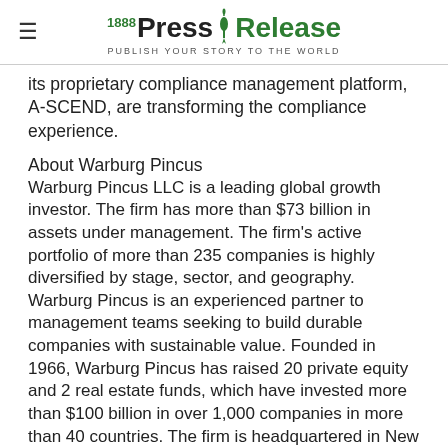1888 Press Release — PUBLISH YOUR STORY TO THE WORLD
its proprietary compliance management platform, A-SCEND, are transforming the compliance experience.
About Warburg Pincus
Warburg Pincus LLC is a leading global growth investor. The firm has more than $73 billion in assets under management. The firm's active portfolio of more than 235 companies is highly diversified by stage, sector, and geography. Warburg Pincus is an experienced partner to management teams seeking to build durable companies with sustainable value. Founded in 1966, Warburg Pincus has raised 20 private equity and 2 real estate funds, which have invested more than $100 billion in over 1,000 companies in more than 40 countries. The firm is headquartered in New York with offices in Amsterdam, Beijing, Berlin, Hong Kong, Houston, London, Luxembourg, Mumbai, Mauritius, San Francisco, São Paulo, Shanghai, and Singapore. For more information please visit www.warburgpincus.com. Follow us on LinkedIn.
###